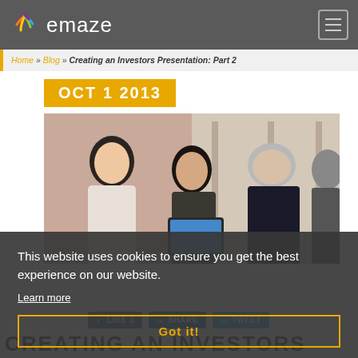emaze
Home » Blog » Creating an Investors Presentation: Part 2
OCT 1 2013
[Figure (photo): Business people in a meeting room, looking at a tablet device. Group of professionals including a woman with dark hair, a man with dark hair, an older silver-haired man in a suit, and a partially visible person on the right.]
This website uses cookies to ensure you get the best experience on our website. Learn more
Got it!
LIKE 1   Share   TWEET
CREATING AN INVESTORS